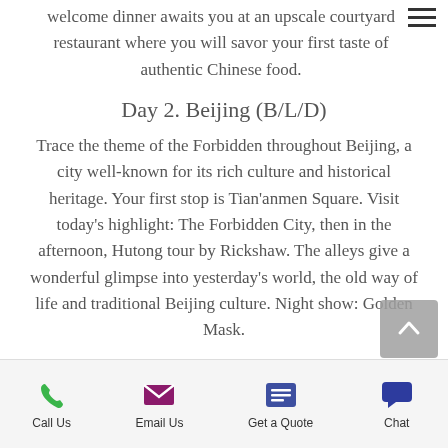welcome dinner awaits you at an upscale courtyard restaurant where you will savor your first taste of authentic Chinese food.
Day 2. Beijing (B/L/D)
Trace the theme of the Forbidden throughout Beijing, a city well-known for its rich culture and historical heritage. Your first stop is Tian'anmen Square. Visit today's highlight: The Forbidden City, then in the afternoon, Hutong tour by Rickshaw. The alleys give a wonderful glimpse into yesterday's world, the old way of life and traditional Beijing culture. Night show: Golden Mask.
Call Us | Email Us | Get a Quote | Chat